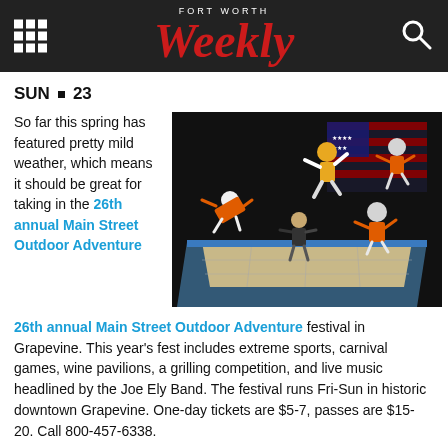FORT WORTH Weekly
SUN • 23
So far this spring has featured pretty mild weather, which means it should be great for taking in the 26th annual Main Street Outdoor Adventure festival in Grapevine. This year's fest includes extreme sports, carnival games, wine pavilions, a grilling competition, and live music headlined by the Joe Ely Band. The festival runs Fri-Sun in historic downtown Grapevine. One-day tickets are $5-7, passes are $15-20. Call 800-457-6338.
[Figure (photo): Trampoline performers doing aerial acrobatics on a trampoline with an American flag backdrop]